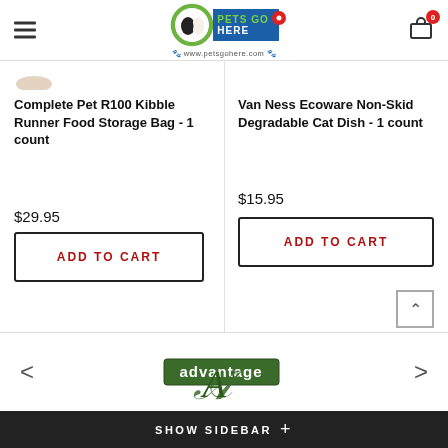Pets Go Here — www.petsgohere.com
Complete Pet R100 Kibble Runner Food Storage Bag - 1 count
$29.95
ADD TO CART
Van Ness Ecoware Non-Skid Degradable Cat Dish - 1 count
$15.95
ADD TO CART
[Figure (logo): Advantage brand logo in green and black]
SHOW SIDEBAR +